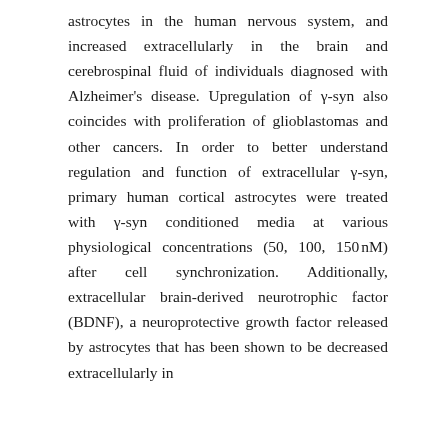astrocytes in the human nervous system, and increased extracellularly in the brain and cerebrospinal fluid of individuals diagnosed with Alzheimer's disease. Upregulation of γ-syn also coincides with proliferation of glioblastomas and other cancers. In order to better understand regulation and function of extracellular γ-syn, primary human cortical astrocytes were treated with γ-syn conditioned media at various physiological concentrations (50, 100, 150 nM) after cell synchronization. Additionally, extracellular brain-derived neurotrophic factor (BDNF), a neuroprotective growth factor released by astrocytes that has been shown to be decreased extracellularly in